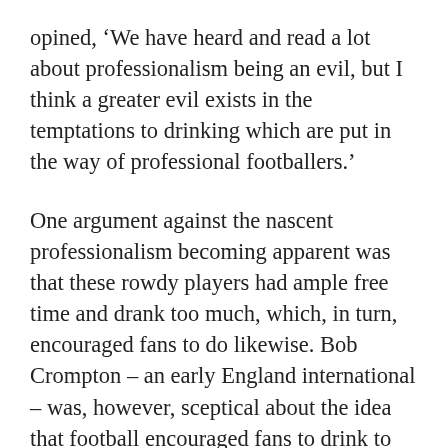opined, ‘We have heard and read a lot about professionalism being an evil, but I think a greater evil exists in the temptations to drinking which are put in the way of professional footballers.’
One argument against the nascent professionalism becoming apparent was that these rowdy players had ample free time and drank too much, which, in turn, encouraged fans to do likewise. Bob Crompton – an early England international – was, however, sceptical about the idea that football encouraged fans to drink to excess. ‘The idea is simply preposterous,’ he said. ‘What happens during